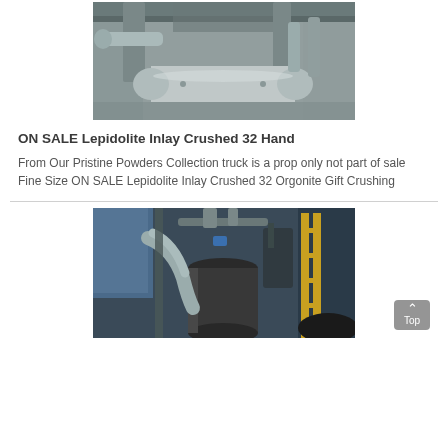[Figure (photo): Industrial equipment photo showing large grey pipes, ducts, and machinery inside a factory or processing plant, viewed from below.]
ON SALE Lepidolite Inlay Crushed 32 Hand
From Our Pristine Powders Collection truck is a prop only not part of sale Fine Size ON SALE Lepidolite Inlay Crushed 32 Orgonite Gift Crushing
[Figure (photo): Industrial processing plant photo showing large cylindrical mill equipment, blue tarp, yellow scaffolding, grey pipes and ductwork, with a 'Top' navigation button overlay in the bottom right corner.]